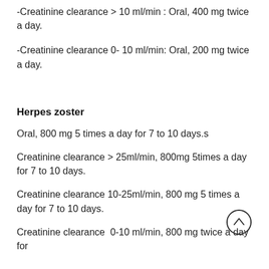-Creatinine clearance > 10 ml/min : Oral, 400 mg twice a day.
-Creatinine clearance 0- 10 ml/min: Oral, 200 mg twice a day.
Herpes zoster
Oral, 800 mg 5 times a day for 7 to 10 days.s
Creatinine clearance > 25ml/min, 800mg 5times a day for 7 to 10 days.
Creatinine clearance 10-25ml/min, 800 mg 5 times a day for 7 to 10 days.
Creatinine clearance  0-10 ml/min, 800 mg twice a day for